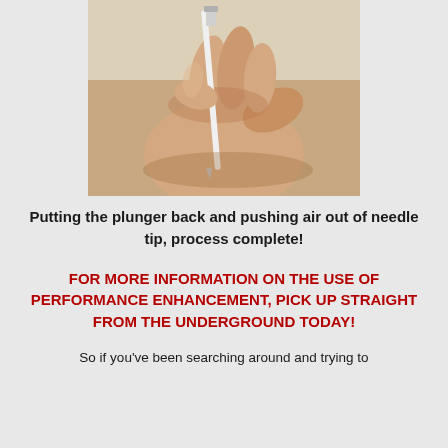[Figure (photo): Close-up photo of a hand holding a syringe/needle between fingers, with the needle tip visible. Brown surface visible in background.]
Putting the plunger back and pushing air out of needle tip, process complete!
FOR MORE INFORMATION ON THE USE OF PERFORMANCE ENHANCEMENT, PICK UP STRAIGHT FROM THE UNDERGROUND TODAY!
So if you've been searching around and trying to